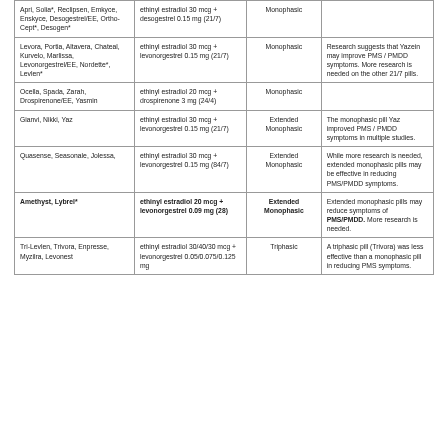| Brand Names | Composition | Type | Notes |
| --- | --- | --- | --- |
| Apri, Solia*, Reclipsen, Emkyce, Enskyce, Desogestrel/EE, Ortho-Cept*, Desogen* | ethinyl estradiol 30 mcg + desogestrel 0.15 mg (21/7) | Monophasic |  |
| Levora, Portia, Altavera, Chateal, Kurvelo, Marlissa, Levonorgestrel/EE, Nordette*, Levlen* | ethinyl estradiol 30 mcg + levonorgestrel 0.15 mg (21/7) | Monophasic | Research suggests that Yaz/ein may improve PMS / PMDD symptoms. More research is needed on the other 21/7 pills. |
| Ocella, Spada, Zarah, Drospirenone/EE, Yasmin | ethinyl estradiol 20 mcg + drospirenone 3 mg (24/4) | Monophasic |  |
| Gianvi, Nikki, Yaz | ethinyl estradiol 30 mcg + levonorgestrel 0.15 mg (21/7) | Extended Monophasic | The monophasic pill Yaz improved PMS / PMDD symptoms in multiple studies. |
| Quasense, Seasonale, Jolessa, | ethinyl estradiol 30 mcg + levonorgestrel 0.15 mg (84/7) | Extended Monophasic | While more research is needed, extended monophasic pills may be effective in reducing PMS/PMDD symptoms. |
| Amethyst, Lybrel* | ethinyl estradiol 20 mcg + levonorgestrel 0.09 mg (28) | Extended Monophasic | Extended monophasic pills may reduce symptoms of PMS/PMDD. More research is needed. |
| Tri-Levlen, Trivora, Enpresse, Myzilra, Levonest | ethinyl estradiol 30/40/30 mcg + levonorgestrel 0.05/0.075/0.125 mg | Triphasic | A triphasic pill (Trivora) was less effective than a monophasic pill in reducing PMS symptoms. |